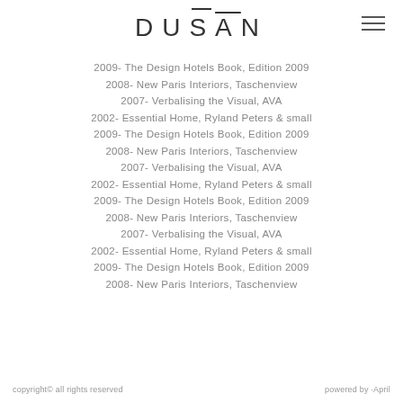DUSAN
2009- The Design Hotels Book, Edition 2009
2008- New Paris Interiors, Taschenview
2007- Verbalising the Visual, AVA
2002- Essential Home, Ryland Peters & small
2009- The Design Hotels Book, Edition 2009
2008- New Paris Interiors, Taschenview
2007- Verbalising the Visual, AVA
2002- Essential Home, Ryland Peters & small
2009- The Design Hotels Book, Edition 2009
2008- New Paris Interiors, Taschenview
2007- Verbalising the Visual, AVA
2002- Essential Home, Ryland Peters & small
2009- The Design Hotels Book, Edition 2009
2008- New Paris Interiors, Taschenview
copyright© all rights reserved    powered by ·April